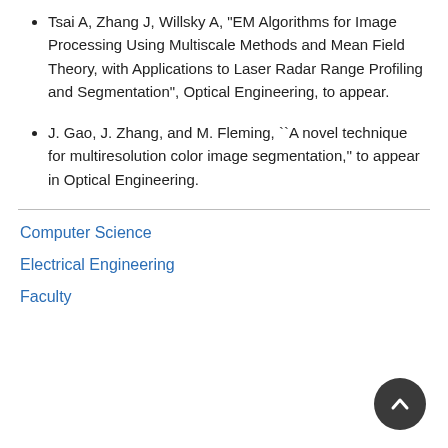Tsai A, Zhang J, Willsky A, "EM Algorithms for Image Processing Using Multiscale Methods and Mean Field Theory, with Applications to Laser Radar Range Profiling and Segmentation", Optical Engineering, to appear.
J. Gao, J. Zhang, and M. Fleming, ``A novel technique for multiresolution color image segmentation,'' to appear in Optical Engineering.
Computer Science
Electrical Engineering
Faculty